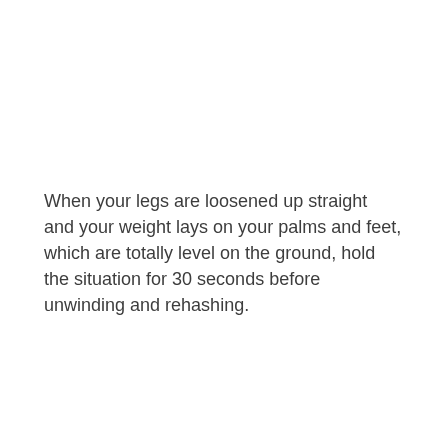When your legs are loosened up straight and your weight lays on your palms and feet, which are totally level on the ground, hold the situation for 30 seconds before unwinding and rehashing.